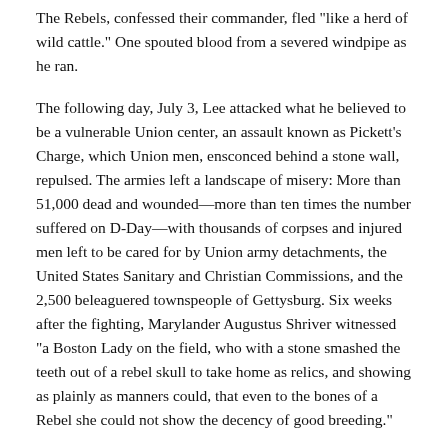The Rebels, confessed their commander, fled "like a herd of wild cattle." One spouted blood from a severed windpipe as he ran.
The following day, July 3, Lee attacked what he believed to be a vulnerable Union center, an assault known as Pickett's Charge, which Union men, ensconced behind a stone wall, repulsed. The armies left a landscape of misery: More than 51,000 dead and wounded—more than ten times the number suffered on D-Day—with thousands of corpses and injured men left to be cared for by Union army detachments, the United States Sanitary and Christian Commissions, and the 2,500 beleaguered townspeople of Gettysburg. Six weeks after the fighting, Marylander Augustus Shriver witnessed "a Boston Lady on the field, who with a stone smashed the teeth out of a rebel skull to take home as relics, and showing as plainly as manners could, that even to the bones of a Rebel she could not show the decency of good breeding."